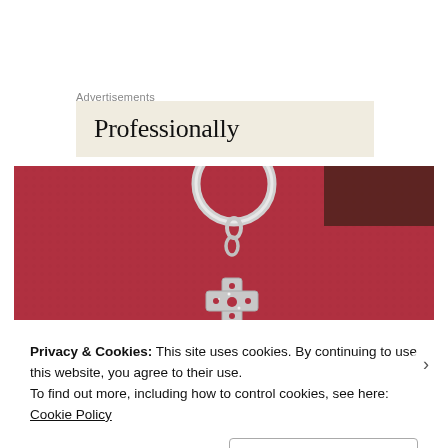Advertisements
[Figure (screenshot): Advertisement banner with beige/cream background showing the word 'Professionally' in serif font]
[Figure (photo): Close-up photo of a silver keychain charm (cross/fleur shape) on a red leather surface]
Privacy & Cookies: This site uses cookies. By continuing to use this website, you agree to their use.
To find out more, including how to control cookies, see here: Cookie Policy
Close and accept